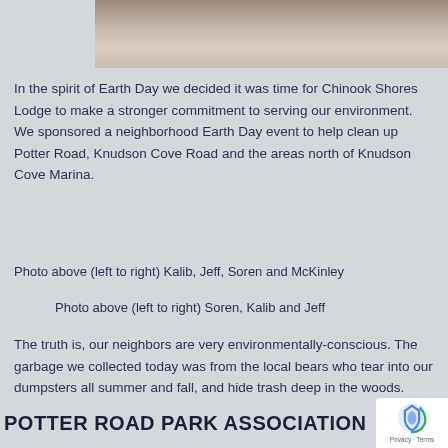[Figure (photo): Partial view of a photo showing stacked firewood and a wooden post on the left, with an open outdoor area on the right, cropped at the top of the page.]
In the spirit of Earth Day we decided it was time for Chinook Shores Lodge to make a stronger commitment to serving our environment. We sponsored a neighborhood Earth Day event to help clean up Potter Road, Knudson Cove Road and the areas north of Knudson Cove Marina.
Photo above (left to right) Kalib, Jeff, Soren and McKinley
Photo above (left to right) Soren, Kalib and Jeff
The truth is, our neighbors are very environmentally-conscious. The garbage we collected today was from the local bears who tear into our dumpsters all summer and fall, and hide trash deep in the woods.
POTTER ROAD PARK ASSOCIATION